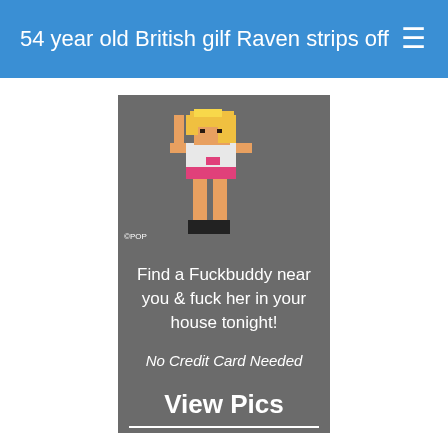54 year old British gilf Raven strips off
[Figure (illustration): Pixel art style animated character of a woman with blonde hair in a short outfit, with ©POP watermark at the bottom left, displayed on a grey background banner advertisement]
Find a Fuckbuddy near you & fuck her in your house tonight!
No Credit Card Needed
View Pics